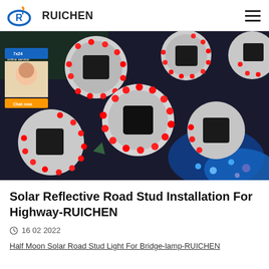RUICHEN
[Figure (photo): Multiple circular solar road studs with glowing red LEDs arranged on a surface, with blue LED lighting visible in the background right corner. White/grey disc-shaped devices each have a black solar panel in the center surrounded by bright red LED lights.]
Solar Reflective Road Stud Installation For Highway-RUICHEN
16 02 2022
Half Moon Solar Road Stud Light For Bridge-lamp-RUICHEN